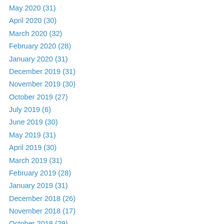May 2020 (31)
April 2020 (30)
March 2020 (32)
February 2020 (28)
January 2020 (31)
December 2019 (31)
November 2019 (30)
October 2019 (27)
July 2019 (6)
June 2019 (30)
May 2019 (31)
April 2019 (30)
March 2019 (31)
February 2019 (28)
January 2019 (31)
December 2018 (26)
November 2018 (17)
October 2018 (29)
September 2018 (30)
August 2018 (28)